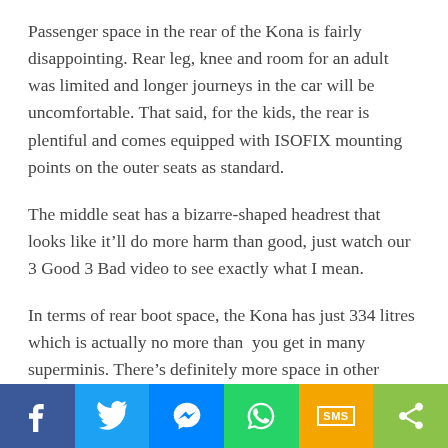Passenger space in the rear of the Kona is fairly disappointing. Rear leg, knee and room for an adult was limited and longer journeys in the car will be uncomfortable. That said, for the kids, the rear is plentiful and comes equipped with ISOFIX mounting points on the outer seats as standard.
The middle seat has a bizarre-shaped headrest that looks like it’ll do more harm than good, just watch our 3 Good 3 Bad video to see exactly what I mean.
In terms of rear boot space, the Kona has just 334 litres which is actually no more than  you get in many superminis. There’s definitely more space in other small SUVs, but the boot is still useable and features a nice, large opening.
Social share bar: Facebook, Twitter, Messenger, WhatsApp, SMS, Share